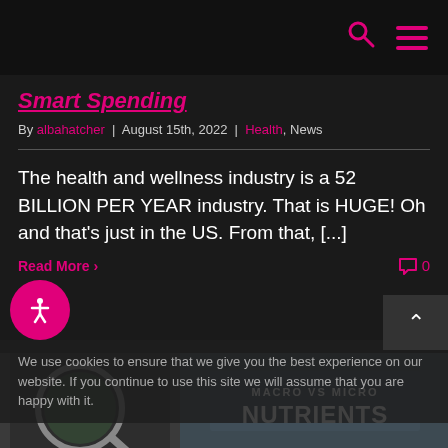Navigation bar with search and menu icons
Smart Spending
By albahatcher | August 15th, 2022 | Health, News
The health and wellness industry is a 52 BILLION PER YEAR industry. That is HUGE! Oh and that's just in the US. From that, [...]
Read More > | 0 comments
We use cookies to ensure that we give you the best experience on our website. If you continue to use this site we will assume that you are happy with it.
[Figure (infographic): Bottom image showing macro vs micro nutrients graphic with a magnifying glass overlay]